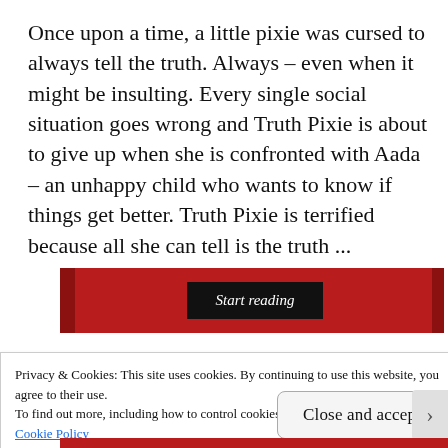Once upon a time, a little pixie was cursed to always tell the truth. Always – even when it might be insulting. Every single social situation goes wrong and Truth Pixie is about to give up when she is confronted with Aada – an unhappy child who wants to know if things get better. Truth Pixie is terrified because all she can tell is the truth ...
[Figure (screenshot): Red banner with black 'Start reading' italic button in the center, with darker red side panels]
Privacy & Cookies: This site uses cookies. By continuing to use this website, you agree to their use.
To find out more, including how to control cookies, see here:
Cookie Policy
Close and accept